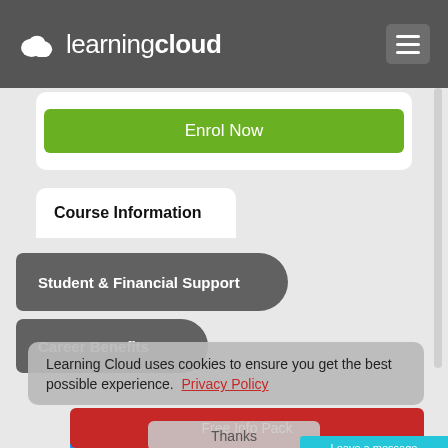[Figure (screenshot): Learning Cloud website header with cloud logo and hamburger menu on dark grey background]
Enrol Now
Course Information
Student & Financial Support
Career Benefits
Learning Cloud uses cookies to ensure you get the best possible experience.  Privacy Policy
Free Info Pack
Thanks
Enquire Now
Enrol Now
Leave a message